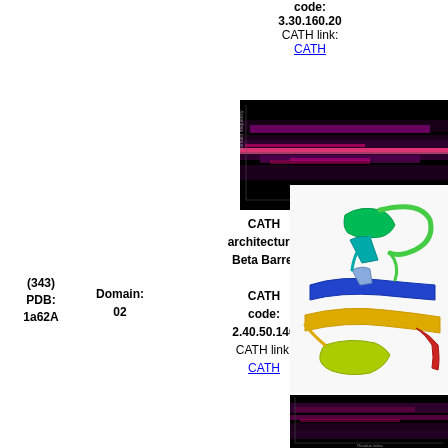CATH code: 3.30.160.20
CATH link: CATH
[Figure (continuous-plot): Heatmap/contact map visualization showing protein residue interactions, dark background with pink/magenta highlights]
(343)
PDB: 1a62A
Domain: 02
CATH architecture: Beta Barrel
CATH code: 2.40.50.140
CATH link: CATH
[Figure (illustration): 3D ribbon diagram of protein structure 1a62A domain 02, showing beta barrel fold with rainbow coloring from blue to red]
[Figure (continuous-plot): Partial heatmap/contact map visualization at bottom of page, dark background with colored highlights]